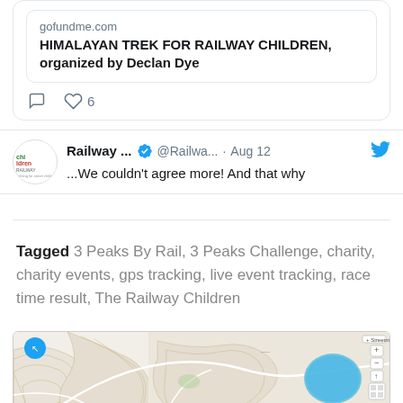[Figure (screenshot): Tweet card showing gofundme.com link preview: 'HIMALAYAN TREK FOR RAILWAY CHILDREN, organized by Declan Dye' with comment and 6 likes icons]
[Figure (screenshot): Tweet from Railway Children (@Railwa...) on Aug 12 with verified badge: '...We couldn't agree more! And that why']
Tagged 3 Peaks By Rail, 3 Peaks Challenge, charity, charity events, gps tracking, live event tracking, race time result, The Railway Children
[Figure (map): Topographic map showing hilly terrain with contour lines, a blue lake on the right side, white roads/paths, green patches, zoom controls on right side, and a circular icon on upper left]